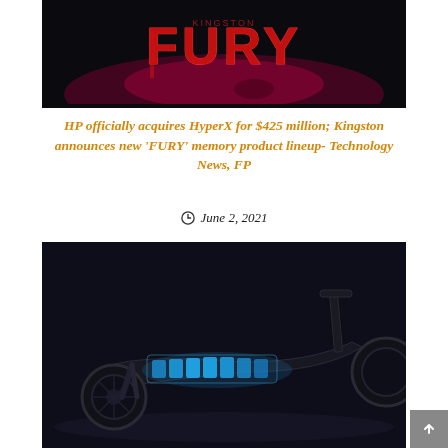[Figure (photo): Dark promotional image with red/pink 'FURY' logo text on a dark background with atmospheric lighting]
HP officially acquires HyperX for $425 million; Kingston announces new 'FURY' memory product lineup- Technology News, FP
June 2, 2021
[Figure (photo): Electric scooter photographed against a dark background, showing glowing blue battery cells visible through the scooter deck]